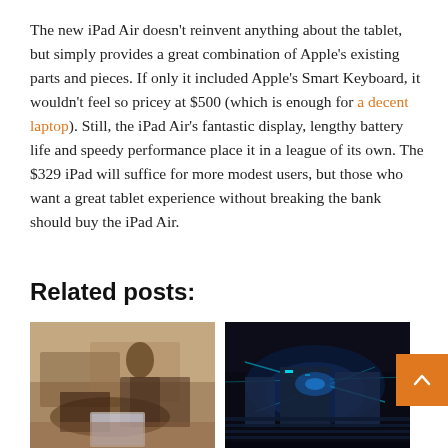The new iPad Air doesn't reinvent anything about the tablet, but simply provides a great combination of Apple's existing parts and pieces. If only it included Apple's Smart Keyboard, it wouldn't feel so pricey at $500 (which is enough for a decent laptop). Still, the iPad Air's fantastic display, lengthy battery life and speedy performance place it in a league of its own. The $329 iPad will suffice for more modest users, but those who want a great tablet experience without breaking the bank should buy the iPad Air.
Related posts:
[Figure (photo): Photo of a person using a tablet in a café/restaurant setting, blurred background with wooden tables]
[Figure (photo): Dark sci-fi or gaming scene with blue/cyan lighting effects and machinery]